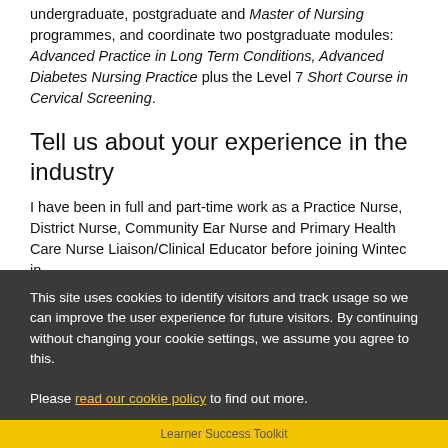undergraduate, postgraduate and Master of Nursing programmes, and coordinate two postgraduate modules: Advanced Practice in Long Term Conditions, Advanced Diabetes Nursing Practice plus the Level 7 Short Course in Cervical Screening.
Tell us about your experience in the industry
I have been in full and part-time work as a Practice Nurse, District Nurse, Community Ear Nurse and Primary Health Care Nurse Liaison/Clinical Educator before joining Wintec in
This site uses cookies to identify visitors and track usage so we can improve the user experience for future visitors. By continuing without changing your cookie settings, we assume you agree to this.

Please read our cookie policy to find out more.
OK
Learner Success Toolkit